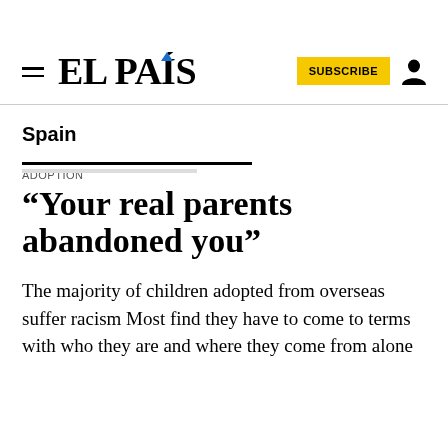EL PAÍS | SUBSCRIBE
Spain
ADOPTION
“Your real parents abandoned you”
The majority of children adopted from overseas suffer racism Most find they have to come to terms with who they are and where they come from alone